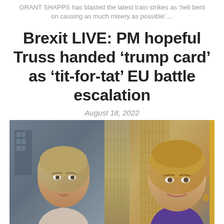GRANT SHAPPS has blasted the latest train strikes as 'hell bent on causing as much misery as possible'....
Brexit LIVE: PM hopeful Truss handed ‘trump card’ as ‘tit-for-tat’ EU battle escalation
August 18, 2022
[Figure (photo): Side-by-side composite photo of Ursula von der Leyen (left, grey/beige jacket, speaking, with city buildings behind) and Liz Truss (right, purple jacket, smiling, with golden building facade behind)]